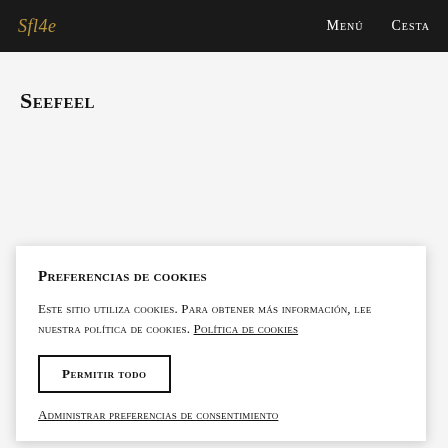Sfl4c  Menú  Cesta
Seefeel
Preferencias de cookies
Este sitio utiliza cookies. Para obtener más información, lee nuestra política de cookies. Política de cookies
Permitir todo
Administrar preferencias de consentimiento